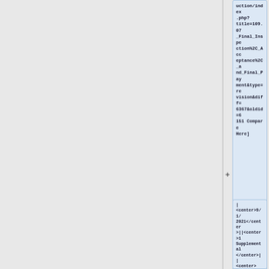uction/index.php?title=109.07_Final_Inspection%2C_Acceptance%2C_and_Final_Payment&type=revision&diff=6367&oldid=6151 Compare Here]
|-
| <center>9/1/2021</center>||<center>1 Supplemental</center>||<center>[[E-Construction